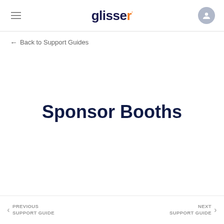glisser
← Back to Support Guides
Sponsor Booths
PREVIOUS SUPPORT GUIDE    NEXT SUPPORT GUIDE